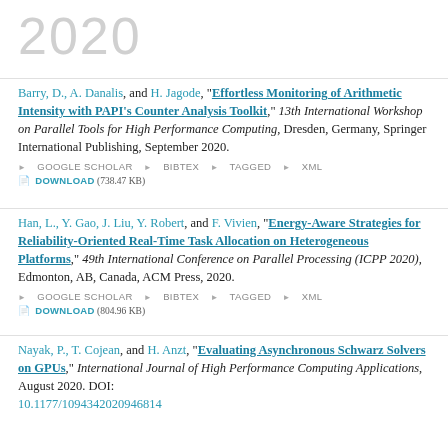2020
Barry, D., A. Danalis, and H. Jagode, “Effortless Monitoring of Arithmetic Intensity with PAPI’s Counter Analysis Toolkit,” 13th International Workshop on Parallel Tools for High Performance Computing, Dresden, Germany, Springer International Publishing, September 2020.
GOOGLE SCHOLAR | BIBTEX | TAGGED | XML | DOWNLOAD (738.47 KB)
Han, L., Y. Gao, J. Liu, Y. Robert, and F. Vivien, “Energy-Aware Strategies for Reliability-Oriented Real-Time Task Allocation on Heterogeneous Platforms,” 49th International Conference on Parallel Processing (ICPP 2020), Edmonton, AB, Canada, ACM Press, 2020.
GOOGLE SCHOLAR | BIBTEX | TAGGED | XML | DOWNLOAD (804.96 KB)
Nayak, P., T. Cojean, and H. Anzt, “Evaluating Asynchronous Schwarz Solvers on GPUs,” International Journal of High Performance Computing Applications, August 2020. DOI: 10.1177/1094342020946814